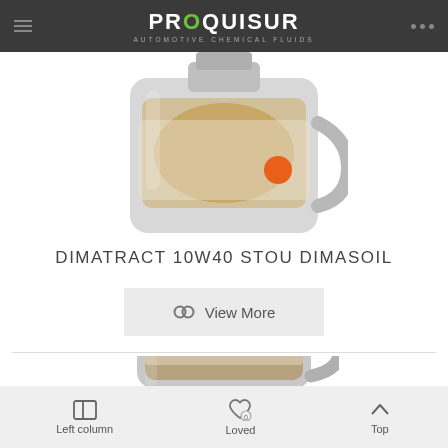PROQUISUR - AUTOMOTIVE CHEMICAL FLUIDS
[Figure (photo): Top portion of a plastic automotive oil container with amber/golden oil visible and an orange label element, grey container body]
DIMATRACT 10W40 STOU DIMASOIL
View More
[Figure (photo): Bottom portion of a grey plastic 5-litre automotive oil container with dark brown cap, showing a second product]
Left column   Loved   Top